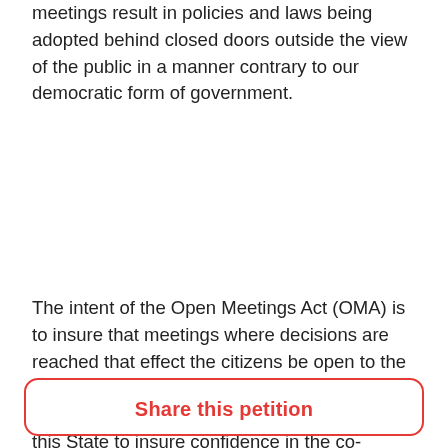meetings result in policies and laws being adopted behind closed doors outside the view of the public in a manner contrary to our democratic form of government.
The intent of the Open Meetings Act (OMA) is to insure that meetings where decisions are reached that effect the citizens be open to the public. Even more pressing is the need for transparency and openness with the people of this State to insure confidence in the co-management process. The co-managers refusal to allow the public access to these meetings has created a perception of mis-deeds and fosters mis-trust in our public servants and the treaty tribes of this state.
Share this petition